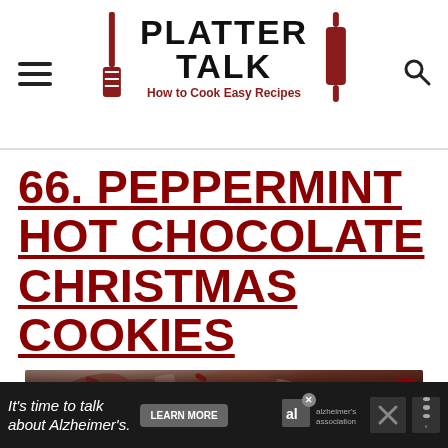PLATTER TALK - How to Cook Easy Recipes
66. PEPPERMINT HOT CHOCOLATE CHRISTMAS COOKIES
[Figure (photo): Close-up photo of peppermint hot chocolate Christmas cookies in a bowl, showing chocolate and crushed peppermint pieces on cookies]
It's time to talk about Alzheimer's. LEARN MORE